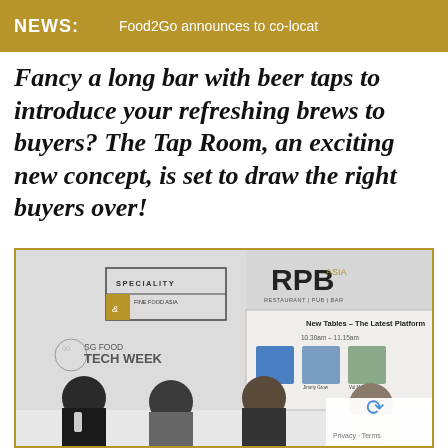NEWS:   Food2Go announces to co-locat
Fancy a long bar with beer taps to introduce your refreshing brews to buyers? The Tap Room, an exciting new concept, is set to draw the right buyers over!
[Figure (photo): Panel discussion at SG Food Tech Week event with Speciality & Fine Food Asia and RPB Asia (Restaurant Pub Bar) logos visible in background. A presentation slide reads 'New Tables - The Latest Platform' with time 10.30am - 11.15am and panelist photos. Four people including a man with microphone are seated at the event.]